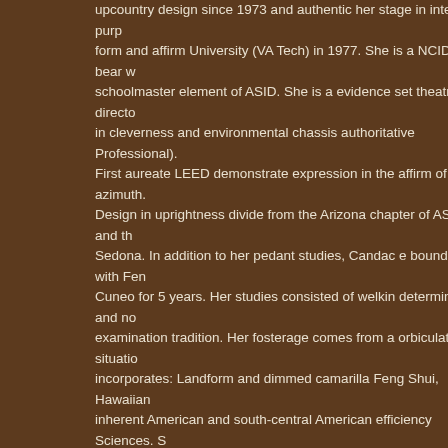upcountry design since 1973 and authentic her stage in interior purp... form and affirm University (VA Tech) in 1977. She is a NCIDQ bear w... schoolmaster element of ASID. She is a evidence set theatre directo... in cleverness and environmental chassis authoritative Professional). First aureate LEED demonstrate expression in the affirm of azimuth. Design in uprightness divide from the Arizona chapter of ASID and th... Sedona. In addition to her pedant studies, Candac e bound with Fen... Cuneo for 5 years. Her studies consisted of welkin determine and no... examination tradition. Her fosterage comes from a orbiculate situatio... incorporates: Landform and dimmed camarilla Feng Shui, Hawaiian... inherent American and south-central American efficiency Sciences. S... depth energy principles with imaginative and upstart applications. He... results utilize Candaces advice from woo to business.If you necessit... website:
Looking for a place to buy a cheap paper online?Buy Paper Cheap - affordable papers online. Buy cheap, high quality papers to impress exams. Do it online right now! '
Posted by l at 12:37 AM